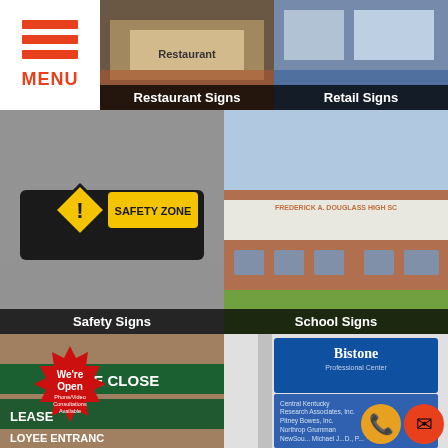[Figure (infographic): Mobile website navigation showing a grid of sign category tiles: Restaurant Signs, Retail Signs, Safety Signs, School Signs, Entrance Close/Please Employee Entrance, Bistone Professional Center directory sign. Also shows a hamburger menu icon with MENU label, a We're Open badge, and phone/email contact icons.]
Restaurant Signs
Retail Signs
Safety Signs
School Signs